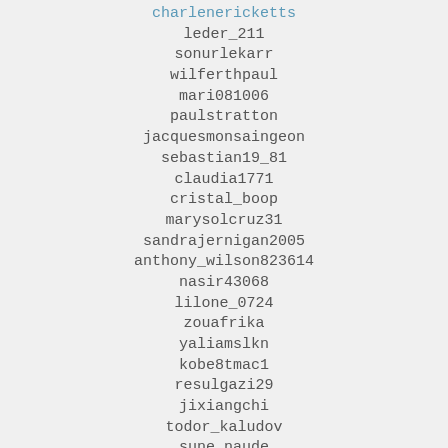charlenericketts
leder_211
sonurlekarr
wilferthpaul
mari081006
paulstratton
jacquesmonsaingeon
sebastian19_81
claudia1771
cristal_boop
marysolcruz31
sandrajernigan2005
anthony_wilson823614
nasir43068
lilone_0724
zouafrika
yaliamslkn
kobe8tmac1
resulgazi29
jixiangchi
todor_kaludov
sune_naude
jasoncarey53
al3433